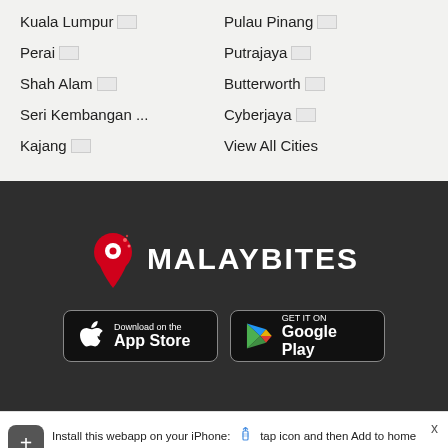Petaling Jaya 🏙️...
Kulim 🏙️
Kuala Lumpur 🏙️
Pulau Pinang 🏙️
Perai 🏙️
Putrajaya 🏙️
Shah Alam 🏙️
Butterworth 🏙️
Seri Kembangan ...
Cyberjaya 🏙️
Kajang 🏙️
View All Cities
[Figure (logo): Malaybites logo: red map pin icon with white dot and red sparkles, next to bold white text reading MALAYBITES on dark background]
[Figure (screenshot): App Store download button: apple icon with text 'Download on the App Store' on black rounded rectangle]
[Figure (screenshot): Google Play download button: colorful play arrow with text 'GET IT ON Google Play' on black rounded rectangle]
Install this webapp on your iPhone: tap icon and then Add to home screen